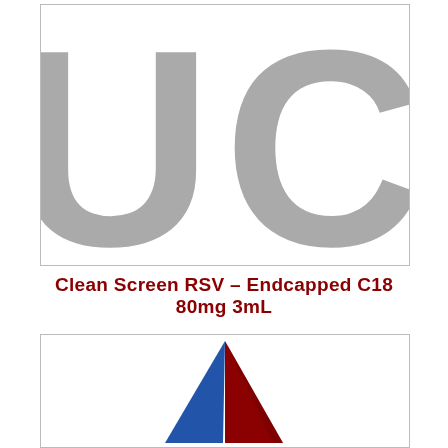[Figure (logo): UCT logo letters 'UCT' in large gray bold text inside a bordered box]
Clean Screen RSV – Endcapped C18 80mg 3mL
[Figure (logo): UCT triangle logo with blue and dark red triangular shapes inside a bordered box]